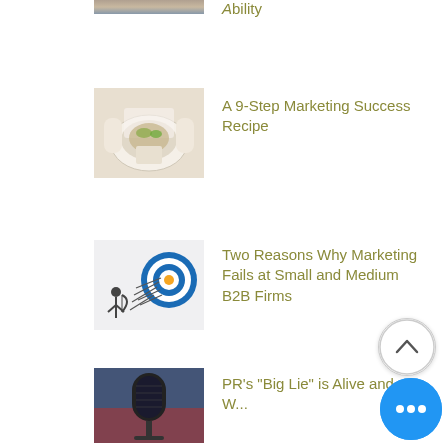[Figure (photo): Partially cropped thumbnail image at top of list]
A 9-Step Marketing Success Recipe
[Figure (photo): Person plating food on white plate]
A 9-Step Marketing Success Recipe
[Figure (illustration): Archery target with arrows, archer figure - marketing illustration]
Two Reasons Why Marketing Fails at Small and Medium B2B Firms
[Figure (photo): Microphone on stand, media/press conference image]
PR's "Big Lie" is Alive and W...